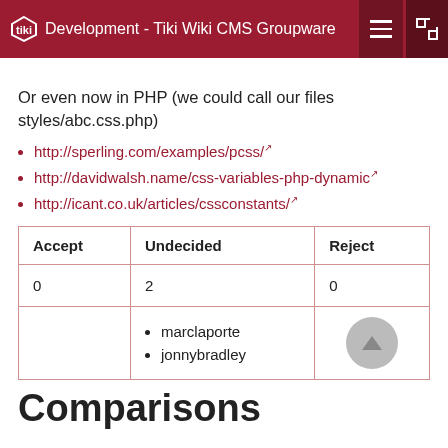Development - Tiki Wiki CMS Groupware
Or even now in PHP (we could call our files styles/abc.css.php)
http://sperling.com/examples/pcss/
http://davidwalsh.name/css-variables-php-dynamic
http://icant.co.uk/articles/cssconstants/
| Accept | Undecided | Reject |
| --- | --- | --- |
| 0 | 2 | 0 |
|  | marclaporte
jonnybradley |  |
Comparisons